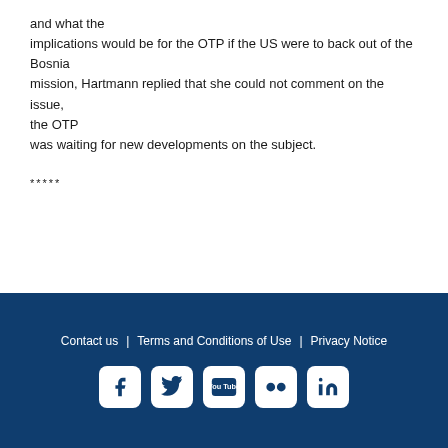and what the implications would be for the OTP if the US were to back out of the Bosnia mission, Hartmann replied that she could not comment on the issue, the OTP was waiting for new developments on the subject.
*****
Contact us  |  Terms and Conditions of Use  |  Privacy Notice